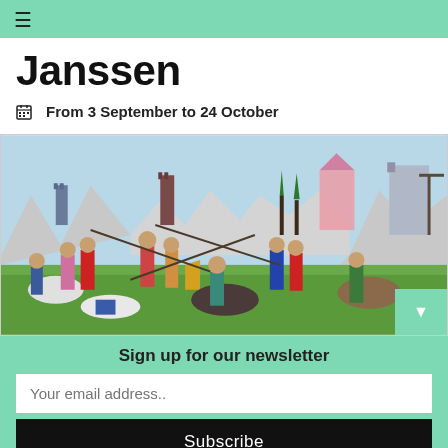≡
Janssen
From 3 September to 24 October
[Figure (illustration): Medieval battle scene painting showing knights on horseback and on foot fighting with lances, swords and shields in a landscape with castles, mountains and trees in the background. Colorful figures in armor and medieval clothing.]
Sign up for our newsletter
Your email address..
Subscribe